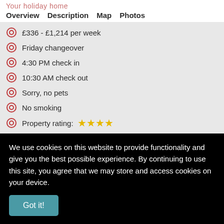Your holiday home
Overview  Description  Map  Photos
£336 - £1,214 per week
Friday changeover
4:30 PM check in
10:30 AM check out
Sorry, no pets
No smoking
Property rating: ★★★★
Description
We use cookies on this website to provide functionality and give you the best possible experience. By continuing to use this site, you agree that we may store and access cookies on your device.